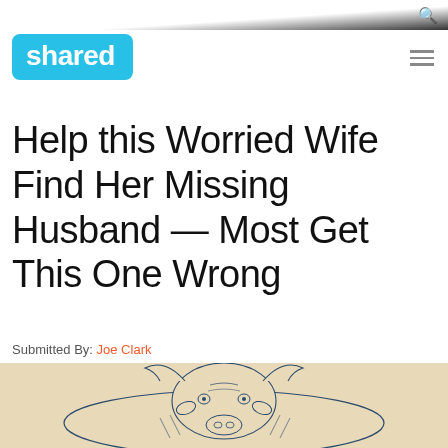shared
Help this Worried Wife Find Her Missing Husband — Most Get This One Wrong
Submitted By: Joe Clark
[Figure (illustration): Vintage engraving-style illustration of a bull or cow with horns, rendered in dark blue ink on a tan/parchment background]